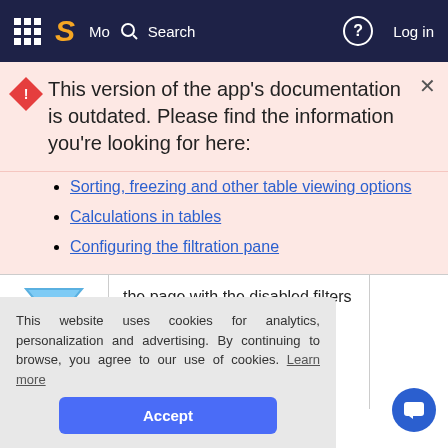S  More  Search  ?  Log in
This version of the app's documentation is outdated. Please find the information you're looking for here:
Sorting, freezing and other table viewing options
Calculations in tables
Configuring the filtration pane
[Figure (illustration): Filter funnel icon]
the page with the disabled filters by default, you
This website uses cookies for analytics, personalization and advertising. By continuing to browse, you agree to our use of cookies. Learn more
Accept